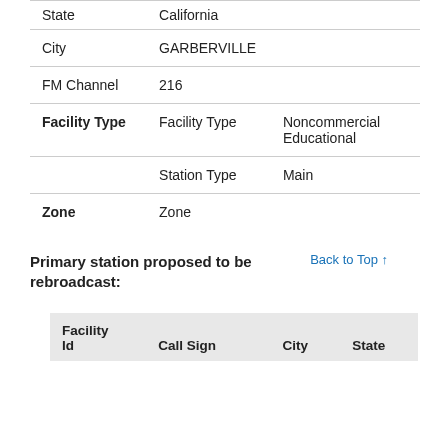|  |  |  |
| --- | --- | --- |
| State | California |  |
| City | GARBERVILLE |  |
| FM Channel | 216 |  |
| Facility Type | Facility Type | Noncommercial Educational |
|  | Station Type | Main |
| Zone | Zone |  |
Primary station proposed to be rebroadcast:
| Facility Id | Call Sign | City | State |
| --- | --- | --- | --- |